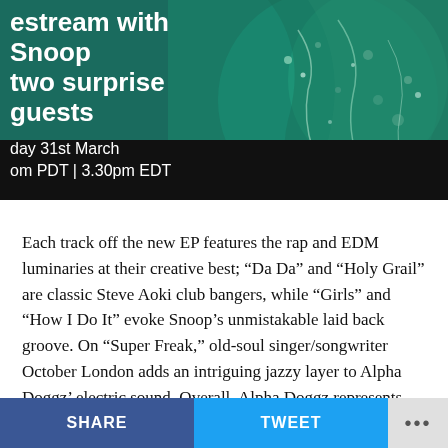[Figure (photo): Banner image with teal/green background and a person wearing an ornate green embroidered garment on the right side. Text overlay reads 'estream with Snoop two surprise guests' and 'day 31st March om PDT | 3.30pm EDT']
estream with Snoop two surprise guests
day 31st March
om PDT | 3.30pm EDT
Each track off the new EP features the rap and EDM luminaries at their creative best; “Da Da” and “Holy Grail” are classic Steve Aoki club bangers, while “Girls” and “How I Do It” evoke Snoop’s unmistakable laid back groove. On “Super Freak,” old-soul singer/songwriter October London adds an intriguing jazzy layer to Alpha Doggz’ electric sound. Overall, Alpha Doggz represents
SHARE   TWEET   ...